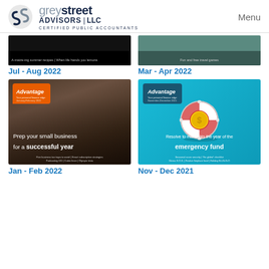[Figure (logo): Grey Street Advisors LLC - Certified Public Accountants logo with stylized S/G icon]
Menu
[Figure (illustration): Magazine cover thumbnail - dark background with text: A-maize-ing summer recipes | When life hands you lemons]
Jul - Aug 2022
[Figure (illustration): Magazine cover thumbnail - teal background with text: Fun and free travel games]
Mar - Apr 2022
[Figure (illustration): Advantage magazine cover - Jan-Feb 2022 - Two people (small business owners) smiling, headline: Prep your small business for a successful year. Footer: Five business tax traps to avoid | Smart subscription strategies | Podcasting 101 | Cabin fever | Olympic trivia]
Jan - Feb 2022
[Figure (illustration): Advantage magazine cover - Nov-Dec 2021 - Blue background with life preserver ring and dollar coin graphic, headline: Resolve to make this the year of the emergency fund. Footer: Seasonal scam security | 'Go global' checklist | Stress S.O.S. | Festive fireplace food | Holiday B-I-N-G-O]
Nov - Dec 2021